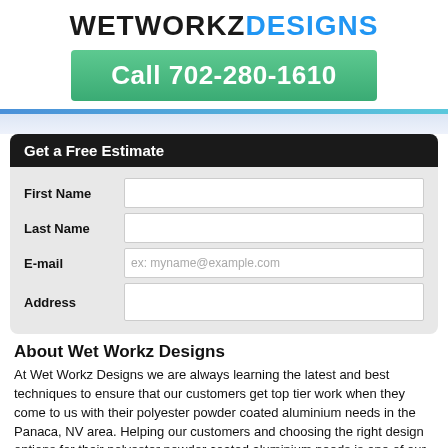WETWORKZDESIGNS
Call 702-280-1610
Get a Free Estimate
| Field | Input |
| --- | --- |
| First Name |  |
| Last Name |  |
| E-mail | ex: myname@example.com |
| Address |  |
About Wet Workz Designs
At Wet Workz Designs we are always learning the latest and best techniques to ensure that our customers get top tier work when they come to us with their polyester powder coated aluminium needs in the Panaca, NV area. Helping our customers and choosing the right design options for their polyester powder coated aluminium needs is one of our favorite parts of the job. Teaching and sharing what we do with others and seeing the